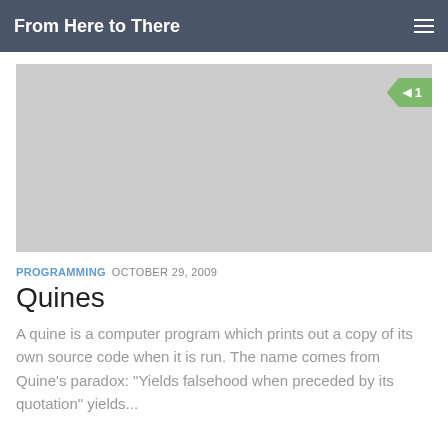From Here to There
[Figure (illustration): Gray placeholder image with a green arrow-shaped badge showing the number 1 in the top-right corner]
PROGRAMMING  OCTOBER 29, 2009
Quines
A quine is a computer program which prints out a copy of its own source code when it is run. The name comes from Quine's paradox: “Yields falsehood when preceded by its quotation” yields...